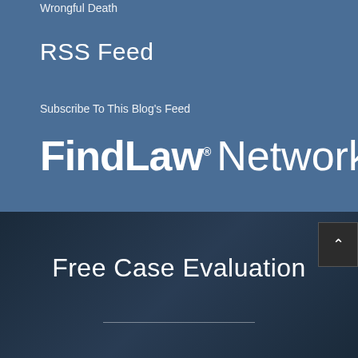Wrongful Death
RSS Feed
Subscribe To This Blog's Feed
[Figure (logo): FindLaw Network logo in white text on blue background]
Free Case Evaluation